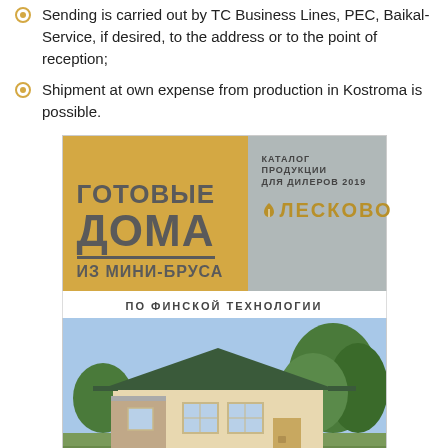Sending is carried out by TC Business Lines, PEC, Baikal-Service, if desired, to the address or to the point of reception;
Shipment at own expense from production in Kostroma is possible.
[Figure (illustration): Catalog cover for 'ЛЕСКОВО' (Leskovo) 2019 dealer product catalog for ready-made mini-timber homes using Finnish technology (ГОТОВЫЕ ДОМА ИЗ МИНИ-БРУСА ПО ФИНСКОЙ ТЕХНОЛОГИИ). Top section has two panels: left panel in yellow-gold showing Russian text, right panel in gray with catalog title and Leskovo logo. Bottom section shows a photograph of a wooden house.]